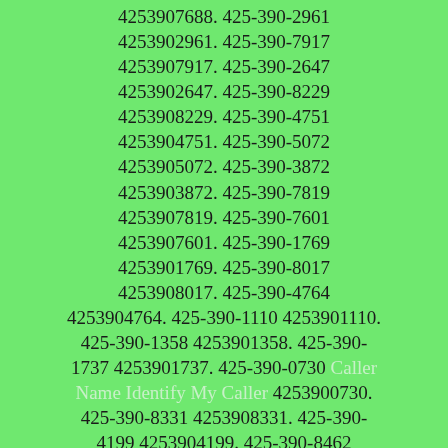4253907688. 425-390-2961 4253902961. 425-390-7917 4253907917. 425-390-2647 4253902647. 425-390-8229 4253908229. 425-390-4751 4253904751. 425-390-5072 4253905072. 425-390-3872 4253903872. 425-390-7819 4253907819. 425-390-7601 4253907601. 425-390-1769 4253901769. 425-390-8017 4253908017. 425-390-4764 4253904764. 425-390-1110 4253901110. 425-390-1358 4253901358. 425-390-1737 4253901737. 425-390-0730 Caller Name Identify My Caller 4253900730. 425-390-8331 4253908331. 425-390-4199 4253904199. 425-390-8462 4253908462. 425-390-3370 4253903370. 425-390-2272 4253902272. 425-390-3127 4253903127. 425-390-0644 Caller Name Identify My Caller 4253900644. 425-390-4970 4253904970. 425-390-1494 4253901494. 425-390-9508